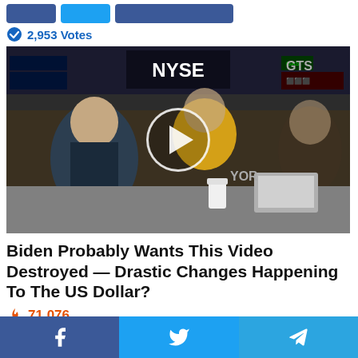[Figure (other): Row of social share buttons: Facebook, Twitter, and a share button]
2,953 Votes
[Figure (screenshot): Video thumbnail showing people seated at NYSE trading floor desk with a play button circle overlay. NYSE sign visible in background.]
Biden Probably Wants This Video Destroyed — Drastic Changes Happening To The US Dollar?
71,076
[Figure (photo): Partial thumbnail of next article at bottom]
Facebook share, Twitter share, Telegram share buttons